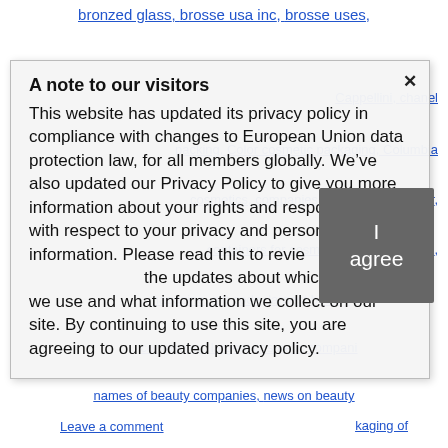bronzed glass, brosse usa inc, brosse uses,
Cappellini, chanel
packing, Color cosmetic packaging, Columbia
cosmetics, companies in the beauty sector,
containers for cosmetics, contract fillers,
cosmetics packaging set, graphics
magazine, gift code, largest beauty
companies, largest cosmetic compan
names of beauty companies, news on beauty
beauty packaging of
Leave a comment
A note to our visitors
This website has updated its privacy policy in compliance with changes to European Union data protection law, for all members globally. We’ve also updated our Privacy Policy to give you more information about your rights and responsibilities with respect to your privacy and personal information. Please read this to review the updates about which cookies we use and what information we collect on our site. By continuing to use this site, you are agreeing to our updated privacy policy.
I agree